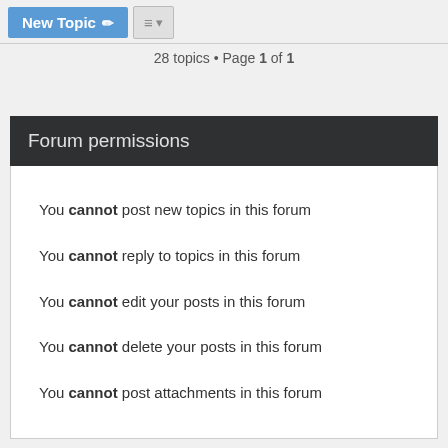28 topics • Page 1 of 1
Forum permissions
You cannot post new topics in this forum
You cannot reply to topics in this forum
You cannot edit your posts in this forum
You cannot delete your posts in this forum
You cannot post attachments in this forum
Condor » Board index   Contact us   FAQ
It is currently Tue Sep 06, 2022 1:14 am
Powered by phpBB® Forum Software © phpBB Limited phpBB Metro Theme by PixelGoose Studio